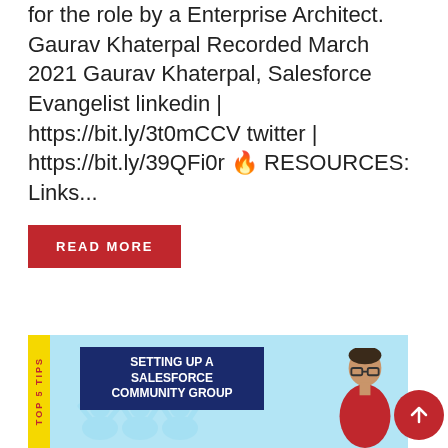for the role by a Enterprise Architect. Gaurav Khaterpal Recorded March 2021 Gaurav Khaterpal, Salesforce Evangelist linkedin | https://bit.ly/3t0mCCV twitter | https://bit.ly/39QFi0r 🔥 RESOURCES: Links...
READ MORE
[Figure (photo): Thumbnail image for a video titled 'Setting Up a Salesforce Community Group' with TOP 5 TIPS label on yellow bar on left side, dark blue title box in center-left, background people in light blue, and a person in red shirt on the right.]